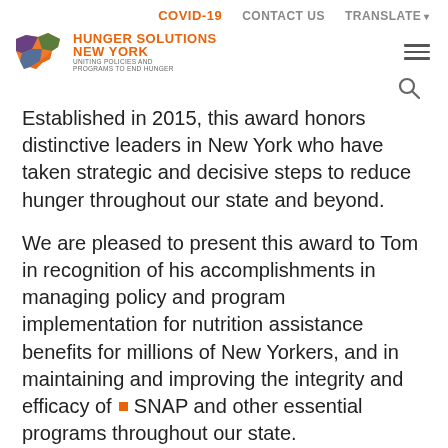COVID-19   CONTACT US   TRANSLATE
[Figure (logo): Hunger Solutions New York logo with NY state map in orange, green, blue, and purple]
Established in 2015, this award honors distinctive leaders in New York who have taken strategic and decisive steps to reduce hunger throughout our state and beyond.
We are pleased to present this award to Tom in recognition of his accomplishments in managing policy and program implementation for nutrition assistance benefits for millions of New Yorkers, and in maintaining and improving the integrity and efficacy of SNAP and other essential programs throughout our state.